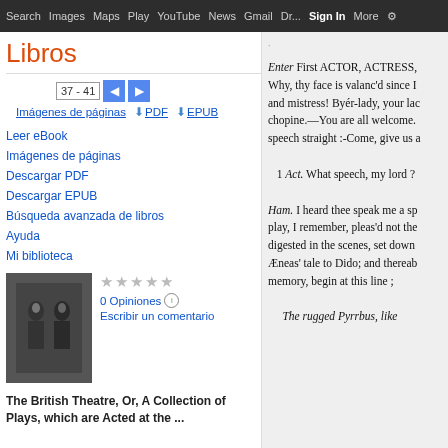Search  Images  Maps  Play  YouTube  News  Gmail  Dr...  More  Sign in  ⚙
Libros
37 - 41
Imágenes de páginas  ⬇ PDF  ⬇ EPUB
Leer eBook
Imágenes de páginas
Descargar PDF
Descargar EPUB
Búsqueda avanzada de libros
Ayuda
Mi biblioteca
[Figure (illustration): Book cover thumbnail showing figures in a dark/dramatic scene]
★★★★★ 0 Opiniones ℹ Escribir un comentario
The British Theatre, Or, A Collection of Plays, which are Acted at the ...
Enter First ACTOR, ACTRESS,
Why, thy face is valanc'd since I
and mistress! Byér-lady, your lac
chopine.—You are all welcome.
speech straight :-Come, give us a
1 Act. What speech, my lord ?
Ham. I heard thee speak me a sp
play, I remember, pleas'd not the
digested in the scenes, set down
Æneas' tale to Dido; and thereab
memory, begin at this line ;
The rugged Pyrrbus, like